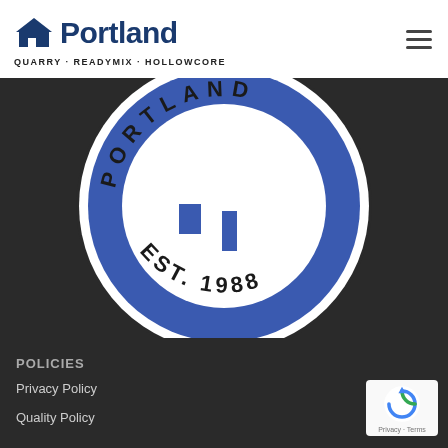[Figure (logo): Portland Quarry Readymix Hollowcore company logo with house icon]
[Figure (logo): Portland company circular seal logo with house/building icon and text EST. 1988 on dark background]
POLICIES
Privacy Policy
Quality Policy
[Figure (logo): Google reCAPTCHA badge with Privacy and Terms links]